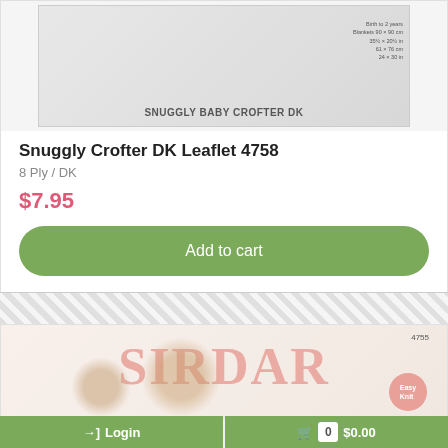[Figure (photo): Product image of Snuggly Baby Crofter DK knitting pattern leaflet cover]
Snuggly Crofter DK Leaflet 4758
8 Ply / DK
$7.95
Add to cart
[Figure (photo): Sirdar knitting pattern leaflet 4755 cover showing baby and Easy Knit badge]
Login
0  $0.00